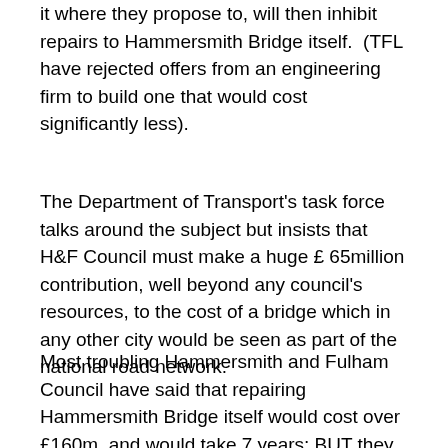it where they propose to, will then inhibit repairs to Hammersmith Bridge itself.  (TFL have rejected offers from an engineering firm to build one that would cost significantly less).
The Department of Transport's task force talks around the subject but insists that H&F Council must make a huge £ 65million contribution, well beyond any council's resources, to the cost of a bridge which in any other city would be seen as part of the national road network.
Most troubling Hammersmith and Fulham Council have said that repairing Hammersmith Bridge itself would cost over £160m, and would take 7 years; BUT they have refused to publish the engineering technical and quantity surveys justifying these latest plans and costs, despite a